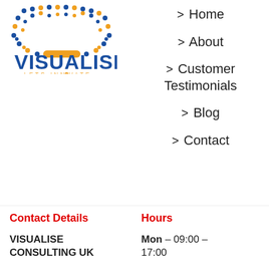[Figure (logo): Visualise Consulting UK logo: dots arranged in a U/V shape above the text VISUALISE in bold blue, with tagline LETS INNOVATE in orange letters]
> Home
> About
> Customer Testimonials
> Blog
> Contact
Contact Details
Hours
VISUALISE CONSULTING UK
Mon – 09:00 – 17:00